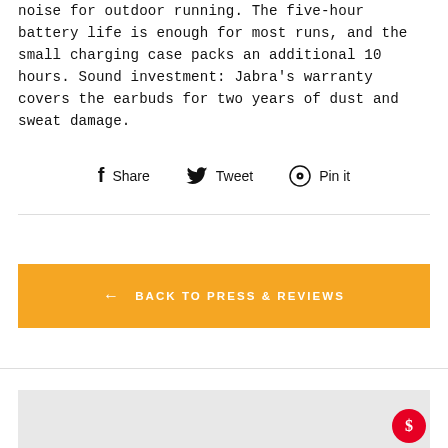noise for outdoor running. The five-hour battery life is enough for most runs, and the small charging case packs an additional 10 hours. Sound investment: Jabra's warranty covers the earbuds for two years of dust and sweat damage.
Share   Tweet   Pin it
← BACK TO PRESS & REVIEWS